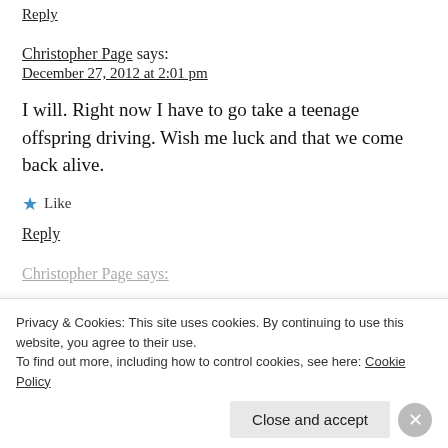Reply
Christopher Page says:
December 27, 2012 at 2:01 pm
I will. Right now I have to go take a teenage offspring driving. Wish me luck and that we come back alive.
★ Like
Reply
Christopher Page says:
Privacy & Cookies: This site uses cookies. By continuing to use this website, you agree to their use.
To find out more, including how to control cookies, see here: Cookie Policy
Close and accept